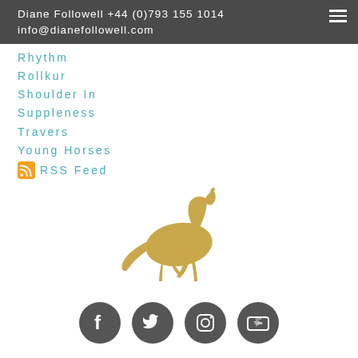Diane Followell +44 (0)793 155 1014 info@dianefollowell.com
Rhythm
Rollkur
Shoulder In
Suppleness
Travers
Young Horses
RSS Feed
[Figure (illustration): Golden/tan silhouette of a horse in a dressage trot pose, facing right]
[Figure (infographic): Social media icons row: Facebook, Twitter, Instagram, YouTube — dark grey circular buttons]